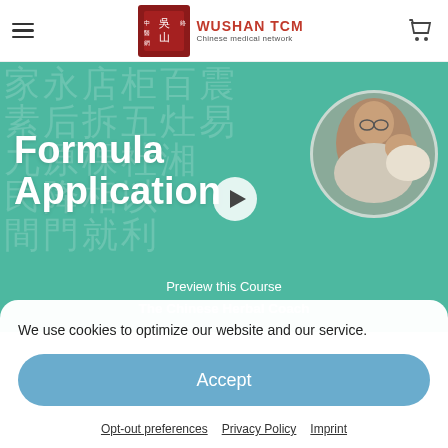[Figure (logo): Wushan TCM logo with Chinese characters and shopping cart icon in header navigation]
[Figure (photo): Banner with teal/green background showing Chinese characters watermark, bold white text 'Formula Application', play button icon, circular portrait photo of a practitioner examining a patient, text 'Preview this Course' and 'The Chinese Herbal Coach']
We use cookies to optimize our website and our service.
Accept
Opt-out preferences   Privacy Policy   Imprint